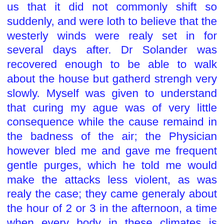us that it did not commonly shift so suddenly, and were loth to believe that the westerly winds were realy set in for several days after. Dr Solander was recovered enough to be able to walk about the house but gatherd strengh very slowly. Myself was given to understand that curing my ague was of very little consequence while the cause remaind in the badness of the air; the Physician however bled me and gave me frequent gentle purges, which he told me would make the attacks less violent, as was realy the case; they came generaly about the hour of 2 or 3 in the afternoon, a time when every body in these climates is asleep, and by 4 or 5 I generaly had recoverd to get up and walk in the garden etc. The rainy season was now set in and we had generaly some rain in the night; the days were more or less cloudy and sometimes wet; this however was not always the case, for after this time we had once a whole week of dry clear weather. The Frogs in the diches, whose voices were ten times louder than those of European ones, made a noise on those nights when rain was to be expected almost intolerable; and the Mosquitos, or Gnats, who had been sufficiently troublesome even in the dry time, now breeding in every splash of water became innumerable, especialy in